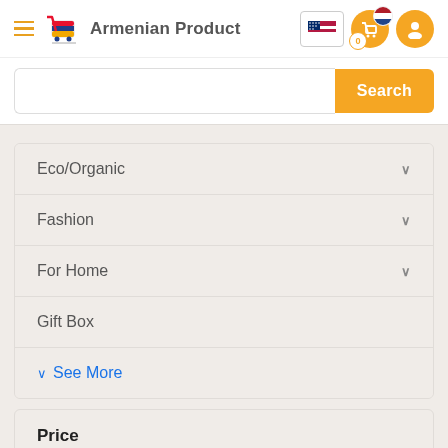[Figure (screenshot): Website header with hamburger menu, Armenian Product logo with shopping cart icon, flag selector, cart icon with 0 badge, and user profile icon]
[Figure (screenshot): Search bar with text input and orange Search button]
Eco/Organic
Fashion
For Home
Gift Box
See More
Price
[Figure (other): Price range slider with orange track and two orange circular thumbs at both ends]